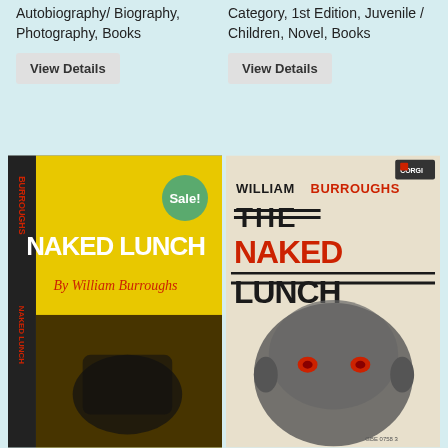Autobiography/ Biography, Photography, Books
Category, 1st Edition, Juvenile / Children, Novel, Books
View Details
View Details
[Figure (photo): Photo of Naked Lunch hardcover book by William Burroughs with yellow and black dust jacket, with a green Sale! badge overlay]
[Figure (photo): Photo of The Naked Lunch paperback book by William Burroughs (Corgi edition) with cream cover featuring a stylized face with red eyes]